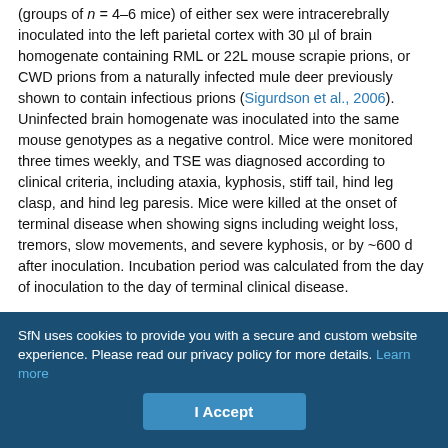(groups of n = 4–6 mice) of either sex were intracerebrally inoculated into the left parietal cortex with 30 µl of brain homogenate containing RML or 22L mouse scrapie prions, or CWD prions from a naturally infected mule deer previously shown to contain infectious prions (Sigurdson et al., 2006). Uninfected brain homogenate was inoculated into the same mouse genotypes as a negative control. Mice were monitored three times weekly, and TSE was diagnosed according to clinical criteria, including ataxia, kyphosis, stiff tail, hind leg clasp, and hind leg paresis. Mice were killed at the onset of terminal disease when showing signs including weight loss, tremors, slow movements, and severe kyphosis, or by ~600 d after inoculation. Incubation period was calculated from the day of inoculation to the day of terminal clinical disease.
SfN uses cookies to provide you with a secure and custom website experience. Please read our privacy policy for more details. Learn more